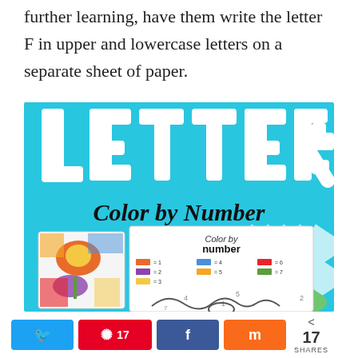further learning, have them write the letter F in upper and lowercase letters on a separate sheet of paper.
[Figure (illustration): Promotional image for 'Letter F Color by Number' educational worksheet. Bright blue background with large white block letters spelling 'LETTER F', below that black script text reading 'Color by Number', and in the lower portion a preview of the worksheet with colored images and a color-by-number activity page.]
17 SHARES — social sharing buttons: Twitter, Pinterest (17), Facebook, Mix